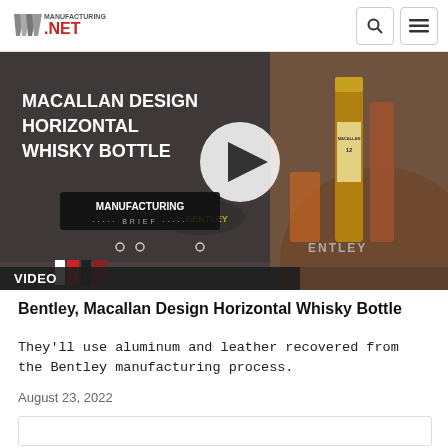Manufacturing.NET
[Figure (screenshot): Video thumbnail showing Macallan Design Horizontal Whisky Bottle with play button overlay, Manufacturing Brief logo, Bentley logo, and Macallan bottles visible. VIDEO label at bottom left.]
Bentley, Macallan Design Horizontal Whisky Bottle
They'll use aluminum and leather recovered from the Bentley manufacturing process.
August 23, 2022